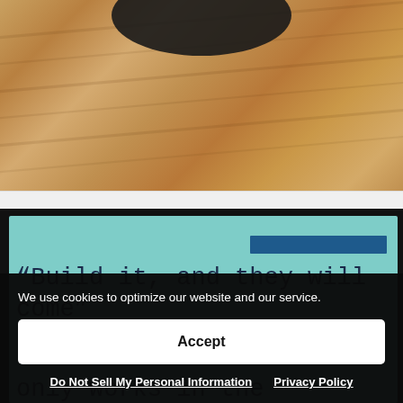[Figure (photo): Photo of a dark circular object (hat or cushion) on a light wood laminate floor]
[Figure (photo): Photo of a teal/mint colored sign or book display in a dark frame showing a dark navy blue horizontal bar and the quote text 'Build it, and they will come' in monospace font, with partially visible text below]
We use cookies to optimize our website and our service.
Accept
Do Not Sell My Personal Information   Privacy Policy